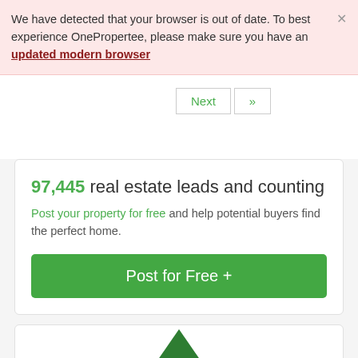We have detected that your browser is out of date. To best experience OnePropertee, please make sure you have an updated modern browser
Next »
97,445 real estate leads and counting
Post your property for free and help potential buyers find the perfect home.
Post for Free +
[Figure (illustration): Green house/triangle icon partially visible at bottom of page]